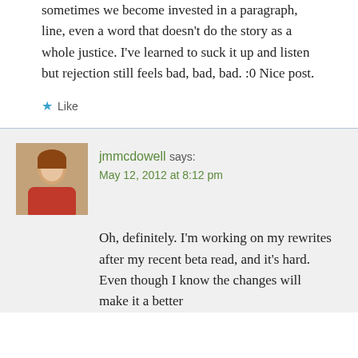sometimes we become invested in a paragraph, line, even a word that doesn't do the story as a whole justice. I've learned to suck it up and listen but rejection still feels bad, bad, bad. :0 Nice post.
★ Like
jmmcdowell says: May 12, 2012 at 8:12 pm
Oh, definitely. I'm working on my rewrites after my recent beta read, and it's hard. Even though I know the changes will make it a better